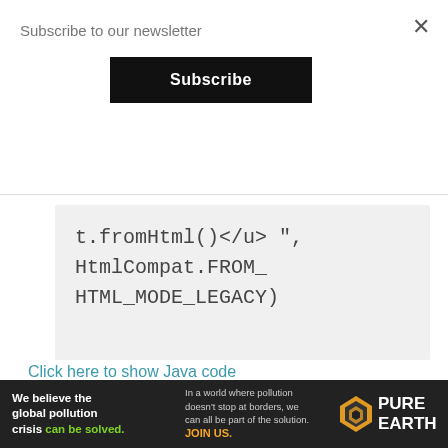Subscribe to our newsletter
Subscribe
×
t.fromHtml()</u>", HtmlCompat.FROM_HTML_MODE_LEGACY)
Click here to show Java code
Easiest Way To Make ListView In Android
We believe the global pollution crisis can be solved. In a world where pollution doesn't stop at borders, we can all be part of the solution. JOIN US. PURE EARTH